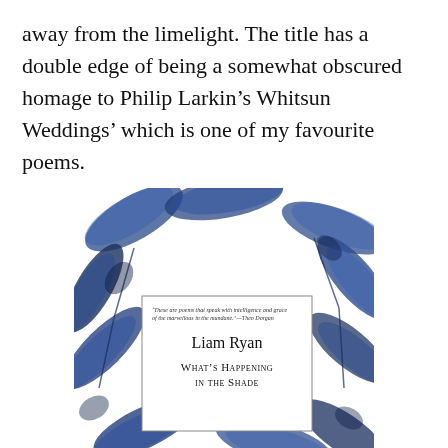away from the limelight. The title has a double edge of being a somewhat obscured homage to Philip Larkin's Whitsun Weddings' which is one of my favourite poems.
[Figure (illustration): Book cover of 'What's Happening in the Shade' by Liam Ryan. White background with large watercolour blue botanical leaves. A rectangular box in the centre contains a quote in small italic text reading 'These are poems that speak with intelligence and grace of the marvellous in the mundane. — Theo Dorgan', the author name 'Liam Ryan' in serif font, and the title 'What's Happening in the Shade' in small caps serif font.]